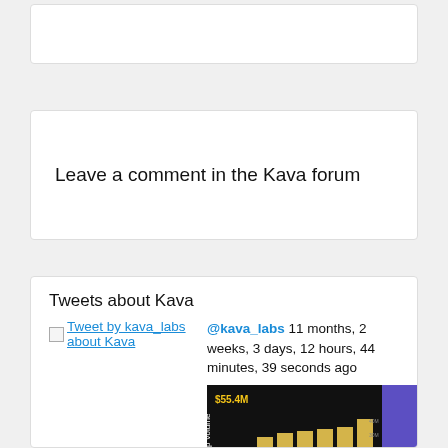Leave a comment in the Kava forum
Tweets about Kava
Tweet by kava_labs about Kava
@kava_labs 11 months, 2 weeks, 3 days, 12 hours, 44 minutes, 39 seconds ago
[Figure (bar-chart): Bar chart showing Kava swap volume with $55.4M label, dark background with gold/yellow bars]
Collecting fees for providing liquidity to pools is one of the best ways to take advantage